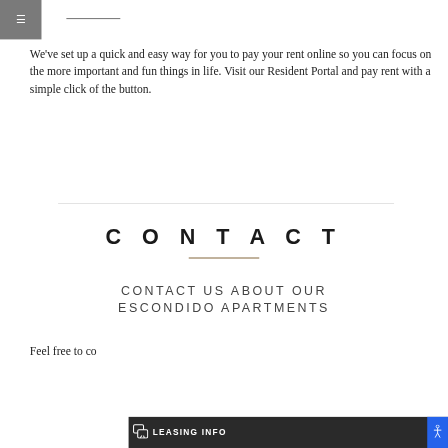We've set up a quick and easy way for you to pay your rent online so you can focus on the more important and fun things in life. Visit our Resident Portal and pay rent with a simple click of the button.
CONTACT
CONTACT US ABOUT OUR ESCONDIDO APARTMENTS
LEASING INFO
Feel free to co